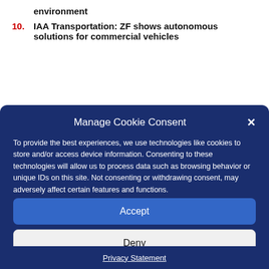environment
10. IAA Transportation: ZF shows autonomous solutions for commercial vehicles
Manage Cookie Consent
To provide the best experiences, we use technologies like cookies to store and/or access device information. Consenting to these technologies will allow us to process data such as browsing behavior or unique IDs on this site. Not consenting or withdrawing consent, may adversely affect certain features and functions.
Accept
Deny
View preferences
Privacy Statement